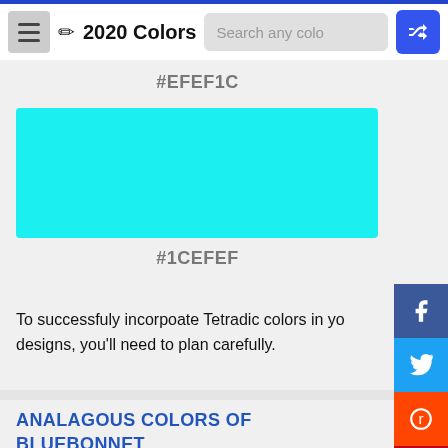2020 Colors
#EFEF1C
[Figure (other): Cyan color swatch rectangle with hex color #1CEFEF]
#1CEFEF
To successfuly incorpoate Tetradic colors in yo designs, you'll need to plan carefully.
ANALAGOUS COLORS OF BLUEBONNET (#1C1CF0)